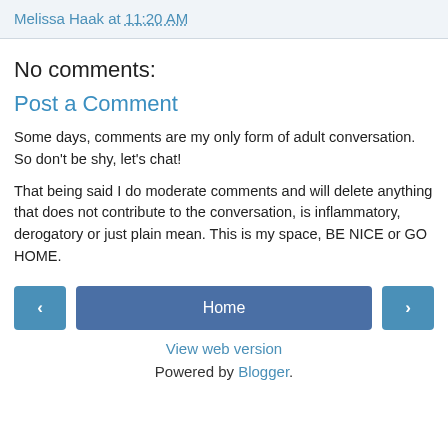Melissa Haak at 11:20 AM
No comments:
Post a Comment
Some days, comments are my only form of adult conversation. So don't be shy, let's chat!
That being said I do moderate comments and will delete anything that does not contribute to the conversation, is inflammatory, derogatory or just plain mean. This is my space, BE NICE or GO HOME.
Home | View web version | Powered by Blogger.